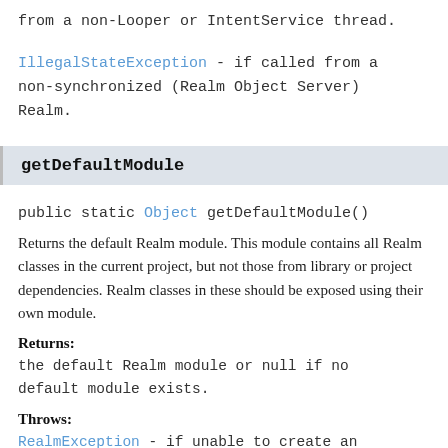from a non-Looper or IntentService thread.
IllegalStateException - if called from a non-synchronized (Realm Object Server) Realm.
getDefaultModule
public static Object getDefaultModule()
Returns the default Realm module. This module contains all Realm classes in the current project, but not those from library or project dependencies. Realm classes in these should be exposed using their own module.
Returns:
the default Realm module or null if no default module exists.
Throws:
RealmException - if unable to create an instance of the module.